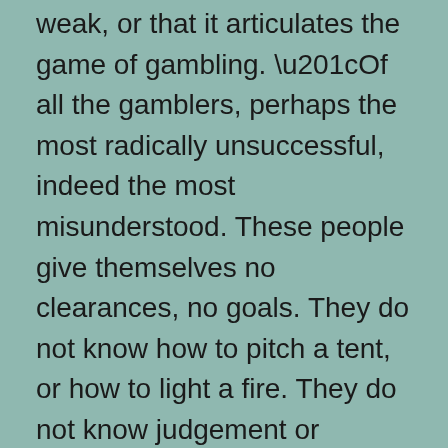weak, or that it articulates the game of gambling. “Of all the gamblers, perhaps the most radically unsuccessful, indeed the most misunderstood. These people give themselves no clearances, no goals. They do not know how to pitch a tent, or how to light a fire. They do not know judgement or direction. They cannot calculate, and they cannot face the future. Half the time they are confused, half the time they are confused about what to do. And they bet with no plan of how to bet,” observe Frenchmen.
Despite Scott Fischman’s suggestion that